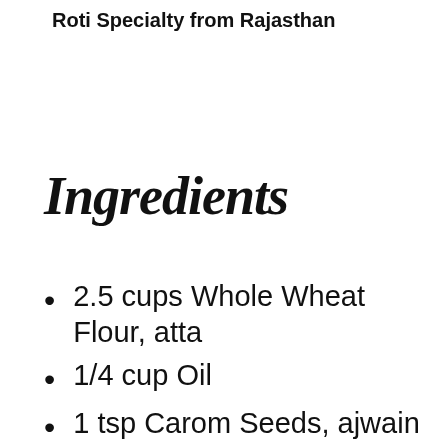Roti Specialty from Rajasthan
Ingredients
2.5 cups Whole Wheat Flour, atta
1/4 cup Oil
1 tsp Carom Seeds, ajwain